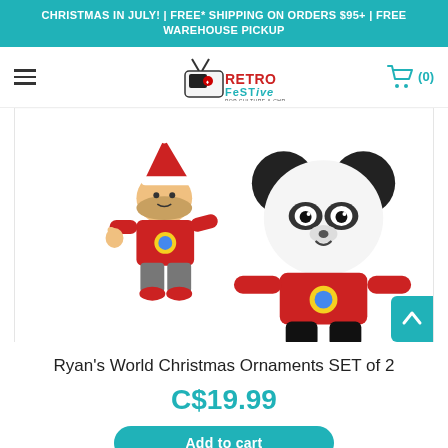CHRISTMAS IN JULY! | FREE* SHIPPING ON ORDERS $95+ | FREE WAREHOUSE PICKUP
[Figure (logo): RetroFestive Pop Culture & Christmas Store logo with cartoon TV and maple leaf]
[Figure (photo): Two Ryan's World Christmas ornament figures: a boy in red sweater with Santa hat and a panda character in red sweater, both standing on white background]
Ryan's World Christmas Ornaments SET of 2
C$19.99